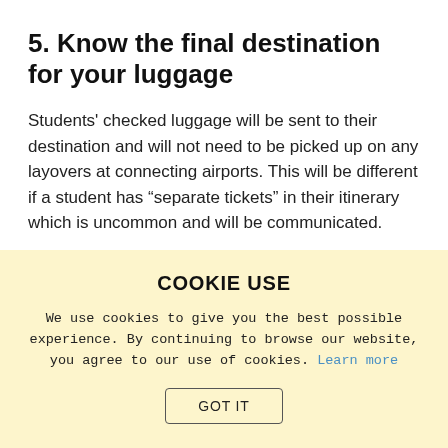5. Know the final destination for your luggage
Students' checked luggage will be sent to their destination and will not need to be picked up on any layovers at connecting airports. This will be different if a student has “separate tickets” in their itinerary which is uncommon and will be communicated.
6. Arrive early to the airport
COOKIE USE
We use cookies to give you the best possible experience. By continuing to browse our website, you agree to our use of cookies. Learn more
GOT IT